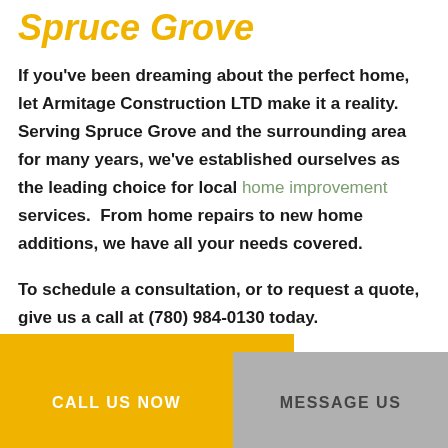Spruce Grove
If you've been dreaming about the perfect home, let Armitage Construction LTD make it a reality. Serving Spruce Grove and the surrounding area for many years, we've established ourselves as the leading choice for local home improvement services.  From home repairs to new home additions, we have all your needs covered.
To schedule a consultation, or to request a quote, give us a call at (780) 984-0130 today.
CALL US NOW | MESSAGE US